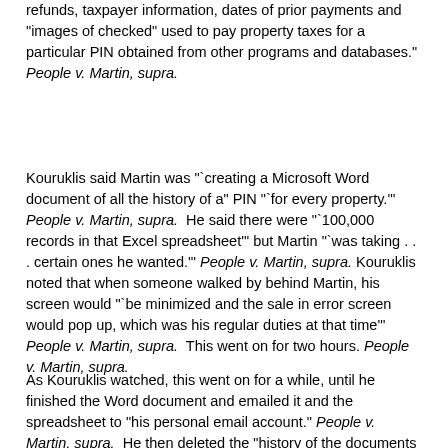refunds, taxpayer information, dates of prior payments and "images of checked" used to pay property taxes for a particular PIN obtained from other programs and databases."  People v. Martin, supra.
Kouruklis said Martin was "`creating a Microsoft Word document of all the history of a" PIN "`for every property.'"  People v. Martin, supra.  He said there were "`100,000 records in that Excel spreadsheet'" but Martin "`was taking . . . certain ones he wanted.'"  People v. Martin, supra.  Kouruklis noted that when someone walked by behind Martin, his screen would "`be minimized and the sale in error screen would pop up, which was his regular duties at that time'"  People v. Martin, supra.  This went on for two hours.  People v. Martin, supra.
As Kouruklis watched, this went on for a while, until he finished the Word document and emailed it and the spreadsheet to "his personal email account."  People v. Martin, supra.  He then deleted the "history of the documents he worked with, his Internet